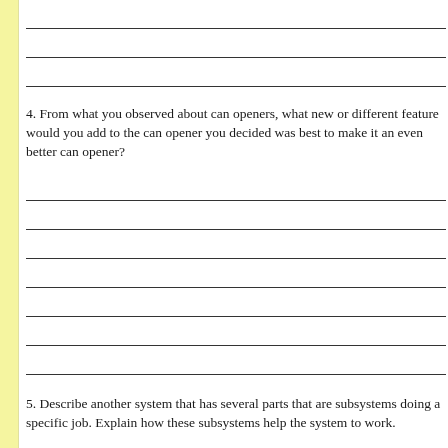4. From what you observed about can openers, what new or different feature would you add to the can opener you decided was best to make it an even better can opener?
5. Describe another system that has several parts that are subsystems doing a specific job. Explain how these subsystems help the system to work.